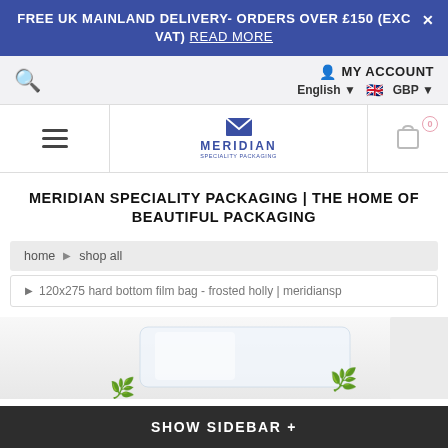FREE UK MAINLAND DELIVERY- ORDERS OVER £150 (EXC VAT) READ MORE
MY ACCOUNT  English ▼  🇬🇧 GBP ▼
[Figure (logo): Meridian Speciality Packaging logo with envelope icon and text]
MERIDIAN SPECIALITY PACKAGING | THE HOME OF BEAUTIFUL PACKAGING
home ▶ shop all
▶ 120x275 hard bottom film bag - frosted holly | meridiansp
[Figure (photo): Frosted film bag product image partially visible at bottom of page]
SHOW SIDEBAR +